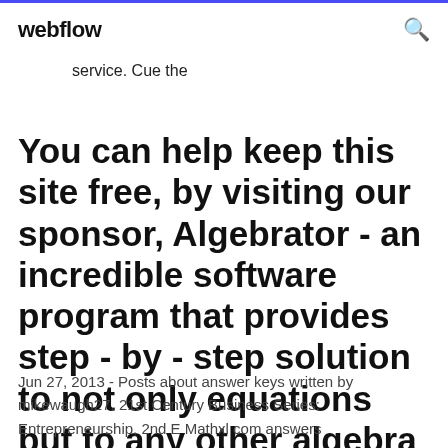webflow
service. Cue the
You can help keep this site free, by visiting our sponsor, Algebrator - an incredible software program that provides step - by - step solution to not only equations but to any other algebra problem as well!
Jun 27, 2013 - Posts about answer keys written by mikewaugh27. 21st Century Business Series: Entrepreneurship, 2nd E Mathxl com answers